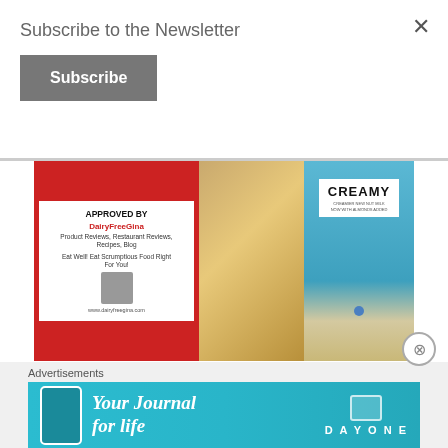Subscribe to the Newsletter
Subscribe
[Figure (photo): Photo of a display stand with a red-framed 'APPROVED BY DairyFreeGina' sign next to a wooden box and a blue 'CREAMY' product display]
BEST DRINKS
Advertisements
[Figure (other): Day One app advertisement banner with 'Your Journal for life' text on blue background]